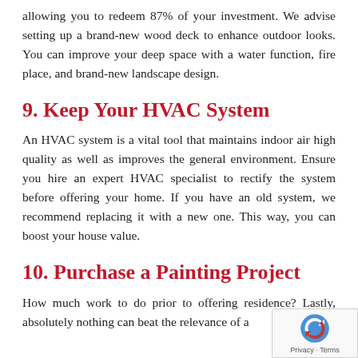allowing you to redeem 87% of your investment. We advise setting up a brand-new wood deck to enhance outdoor looks. You can improve your deep space with a water function, fire place, and brand-new landscape design.
9. Keep Your HVAC System
An HVAC system is a vital tool that maintains indoor air high quality as well as improves the general environment. Ensure you hire an expert HVAC specialist to rectify the system before offering your home. If you have an old system, we recommend replacing it with a new one. This way, you can boost your house value.
10. Purchase a Painting Project
How much work to do prior to offering residence? Lastly, absolutely nothing can beat the relevance of a